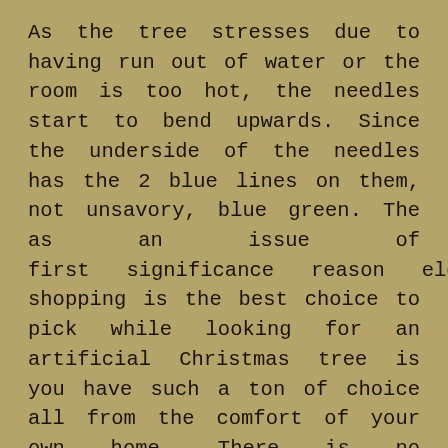As the tree stresses due to having run out of water or the room is too hot, the needles start to bend upwards. Since the underside of the needles has the 2 blue lines on them, not unsavory, blue green. The as an issue of first significance reason electronic shopping is the best choice to pick while looking for an artificial Christmas tree is you have such a ton of choice all from the comfort of your own home. There is no convincing motivation to make a beeline for a couple of remarkable shops and farms searching for the best tree at the best worth, you can essentially relax at home examining all of the different destinations at the snap of a catch. With this ability to see a couple of unmistakable shops totally